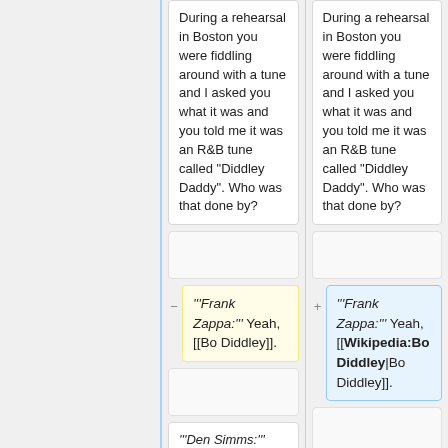During a rehearsal in Boston you were fiddling around with a tune and I asked you what it was and you told me it was an R&B tune called "Diddley Daddy". Who was that done by?
During a rehearsal in Boston you were fiddling around with a tune and I asked you what it was and you told me it was an R&B tune called "Diddley Daddy". Who was that done by?
'''Frank Zappa:''' Yeah, [[Bo Diddley]].
'''Frank Zappa:''' Yeah, [[Wikipedia:Bo Diddley|Bo Diddley]].
'''Den Simms:'''
'''Den Simms:'''